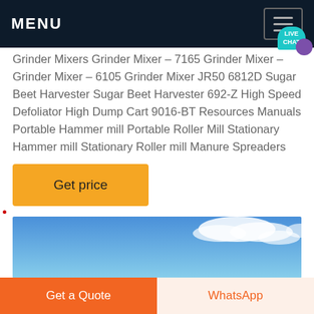MENU
Grinder Mixers Grinder Mixer – 7165 Grinder Mixer – Grinder Mixer – 6105 Grinder Mixer JR50 6812D Sugar Beet Harvester Sugar Beet Harvester 692-Z High Speed Defoliator High Dump Cart 9016-BT Resources Manuals Portable Hammer mill Portable Roller Mill Stationary Hammer mill Stationary Roller mill Manure Spreaders
Get price
[Figure (photo): Blue sky with white clouds]
Get a Quote
WhatsApp